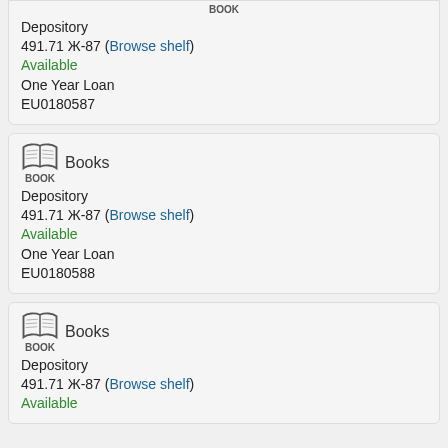[Figure (illustration): Book icon with label BOOK (partial top card, cut off at top)]
Depository
491.71 Ж-87 (Browse shelf)
Available
One Year Loan
EU0180587
[Figure (illustration): Book icon with label BOOK and text Books]
Depository
491.71 Ж-87 (Browse shelf)
Available
One Year Loan
EU0180588
[Figure (illustration): Book icon with label BOOK and text Books]
Depository
491.71 Ж-87 (Browse shelf)
Available